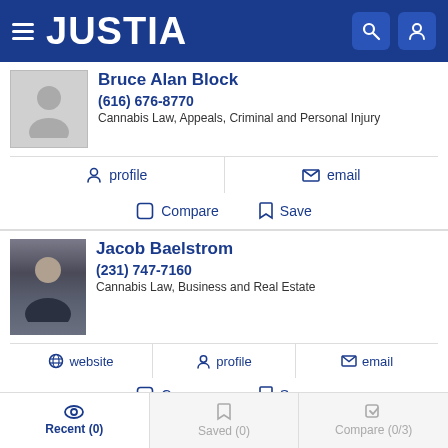JUSTIA
Bruce Alan Block
(616) 676-8770
Cannabis Law, Appeals, Criminal and Personal Injury
profile
email
Compare
Save
Jacob Baelstrom
(231) 747-7160
Cannabis Law, Business and Real Estate
website
profile
email
Compare
Save
Recent (0)  Saved (0)  Compare (0/3)